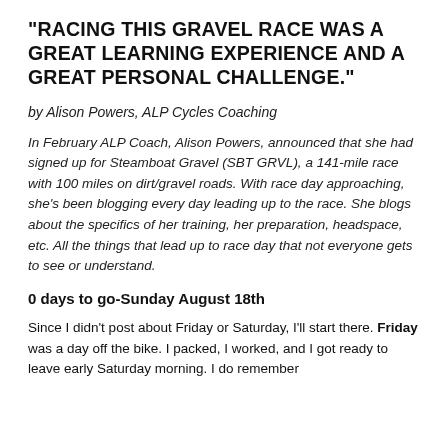"RACING THIS GRAVEL RACE WAS A GREAT LEARNING EXPERIENCE AND A GREAT PERSONAL CHALLENGE."
by Alison Powers, ALP Cycles Coaching
In February ALP Coach, Alison Powers, announced that she had signed up for Steamboat Gravel (SBT GRVL), a 141-mile race with 100 miles on dirt/gravel roads. With race day approaching, she's been blogging every day leading up to the race. She blogs about the specifics of her training, her preparation, headspace, etc. All the things that lead up to race day that not everyone gets to see or understand.
0 days to go-Sunday August 18th
Since I didn't post about Friday or Saturday, I'll start there. Friday was a day off the bike. I packed, I worked, and I got ready to leave early Saturday morning. I do remember